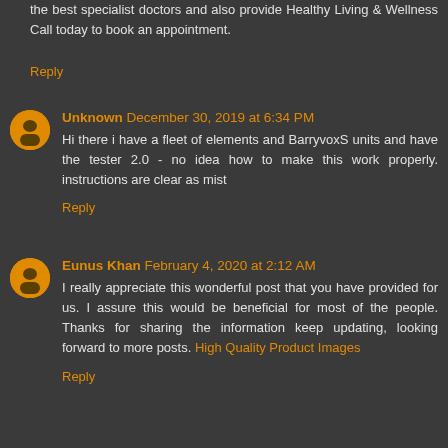the best specialist doctors and also provide Healthy Living & Wellness Call today to book an appointment.
Reply
Unknown December 30, 2019 at 6:34 PM
Hi there i have a fleet of elements and BarryvoxS units and have the tester 2.0 - no idea how to make this work properly. instructions are clear as mist
Reply
Eunus Khan February 4, 2020 at 2:12 AM
I really appreciate this wonderful post that you have provided for us. I assure this would be beneficial for most of the people. Thanks for sharing the information keep updating, looking forward to more posts. High Quality Product Images
Reply